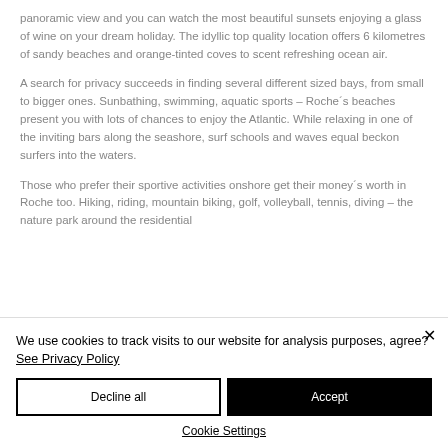panoramic view and you can watch the most beautiful sunsets enjoying a glass of wine on your dream holiday. The idyllic top quality location offers 6 kilometres of sandy beaches and orange-tinted coves to scent refreshing ocean air.
A search for privacy succeeds in finding several different sized bays, from small to bigger ones. Sunbathing, swimming, aquatic sports – Roche´s beaches present you with lots of chances to enjoy the Atlantic. While relaxing in one of the inviting bars along the seashore, surf schools and waves equal beckon surfers into the waters.
Those who prefer their sportive activities onshore get their money´s worth in Roche too. Hiking, riding, mountain biking, golf, volleyball, tennis, diving – the nature park around the residential area f...
We use cookies to track visits to our website for analysis purposes, agree? See Privacy Policy
Decline all
Accept
Cookie Settings